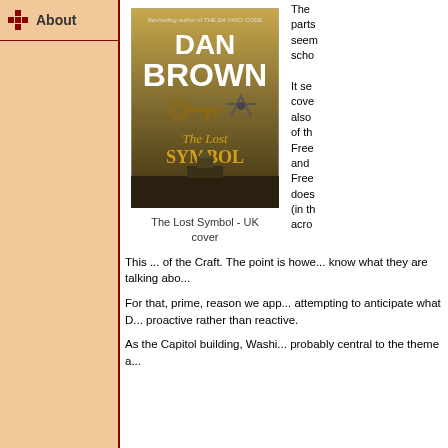About
[Figure (photo): Book cover of 'The Lost Symbol' by Dan Brown - UK cover, showing the title in gold text with a key and masonic symbols, and the US Capitol building in the background]
The Lost Symbol - UK cover
The... parts... seem... scho...
It se... cove... also... of th... Free... and ... Free... does... (in th... acro...
This ... of the Craft. The point is howe... know what they are talking abo...
For that, prime, reason we app... attempting to anticipate what D... proactive rather than reactive.
As the Capitol building, Washi... probably central to the theme a...